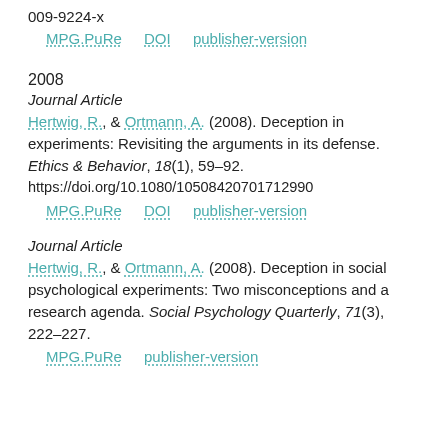009-9224-x
MPG.PuRe   DOI   publisher-version
2008
Journal Article
Hertwig, R., & Ortmann, A. (2008). Deception in experiments: Revisiting the arguments in its defense. Ethics & Behavior, 18(1), 59–92. https://doi.org/10.1080/10508420701712990
MPG.PuRe   DOI   publisher-version
Journal Article
Hertwig, R., & Ortmann, A. (2008). Deception in social psychological experiments: Two misconceptions and a research agenda. Social Psychology Quarterly, 71(3), 222–227.
MPG.PuRe   publisher-version